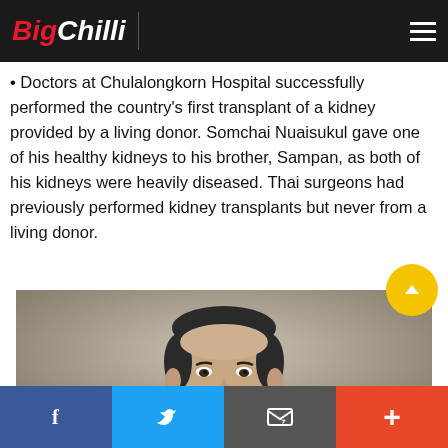BigChilli
Doctors at Chulalongkorn Hospital successfully performed the country's first transplant of a kidney provided by a living donor. Somchai Nuaisukul gave one of his healthy kidneys to his brother, Sampan, as both of his kidneys were heavily diseased. Thai surgeons had previously performed kidney transplants but never from a living donor.
[Figure (photo): Black and white portrait photograph of a Thai man in formal attire, appearing to be from mid-20th century]
Social sharing bar: Facebook, Twitter, Email, More